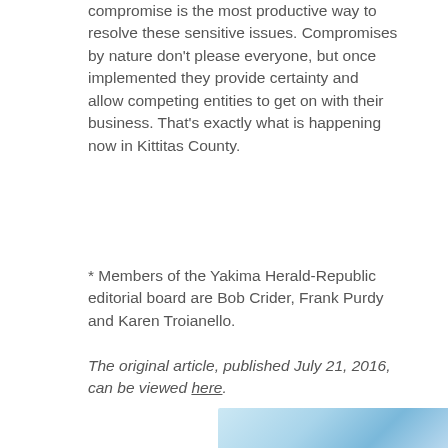compromise is the most productive way to resolve these sensitive issues. Compromises by nature don't please everyone, but once implemented they provide certainty and allow competing entities to get on with their business. That's exactly what is happening now in Kittitas County.
* Members of the Yakima Herald-Republic editorial board are Bob Crider, Frank Purdy and Karen Troianello.
The original article, published July 21, 2016, can be viewed here.
[Figure (illustration): Partial decorative image with light blue gradient, visible at bottom right corner of page]